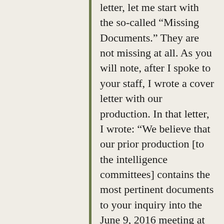letter, let me start with the so-called “Missing Documents.” They are not missing at all. As you will note, after I spoke to your staff, I wrote a cover letter with our production. In that letter, I wrote: “We believe that our prior production [to the intelligence committees] contains the most pertinent documents to your inquiry into the June 9, 2016 meeting at Trump Tower, and related matters, and undercut any notion that there was collusion (or even any extensive interaction) between Mr. Kushner and Russia concerning the 2016 election.” The documents provided to those committees fully responded to their requests. That was why we said we